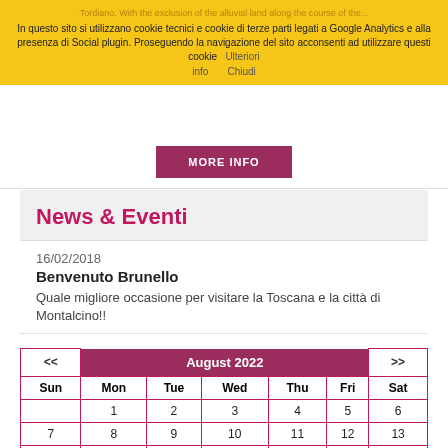In questo sito si utilizzano cookie tecnici e cookie di terze parti legati a Google Analytics e alla presenza di Social plugin. Proseguendo la navigazione del sito acconsenti ad utilizzare questi cookie   Ulteriori info   Chiudi
MORE INFO
News & Eventi
16/02/2018
Benvenuto Brunello
Quale migliore occasione per visitare la Toscana e la città di Montalcino!!
| << | August 2022 | >> |
| --- | --- | --- |
| Sun | Mon | Tue | Wed | Thu | Fri | Sat |
|  | 1 | 2 | 3 | 4 | 5 | 6 |
| 7 | 8 | 9 | 10 | 11 | 12 | 13 |
| 14 | 15 | 16 | 17 | 18 | 19 | 20 |
| 21 | 22 | 23 | 24 | 25 | 26 | 27 |